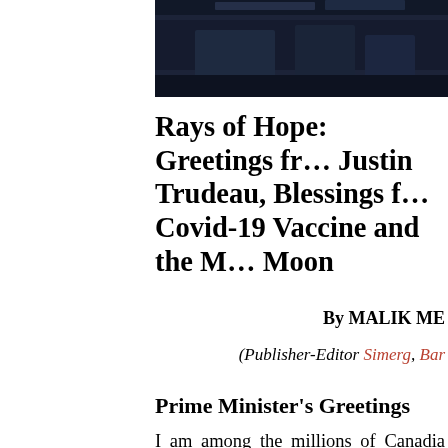[Figure (photo): Dark nighttime exterior photo of a building, partially visible at the top of the page]
Rays of Hope: Greetings from Justin Trudeau, Blessings from Covid-19 Vaccine and the Moon
By MALIK ME
(Publisher-Editor Simerg, Bar
Prime Minister's Greetings
I am among the millions of Canadia Greetings" from the Prime Minister o wife Sophie Grégoire Trudeau. Their m photos reads: "Let's cherish the bond